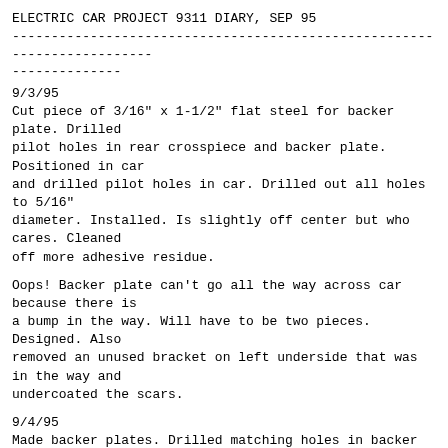ELECTRIC CAR PROJECT 9311 DIARY, SEP 95
9/3/95
Cut piece of 3/16" x 1-1/2" flat steel for backer plate. Drilled
pilot holes in rear crosspiece and backer plate. Positioned in car
and drilled pilot holes in car. Drilled out all holes to 5/16"
diameter. Installed. Is slightly off center but who cares. Cleaned
off more adhesive residue.
Oops! Backer plate can't go all the way across car because there is
a bump in the way. Will have to be two pieces. Designed. Also
removed an unused bracket on left underside that was in the way and
undercoated the scars.
9/4/95
Made backer plates. Drilled matching holes in backer plates, battery
rack and car. Tried installation with 1" bolts. Look OK. The backer
plates have notches on the edge near the 5/16" hole. The plate with
two notches goes on the right side; the plate with one